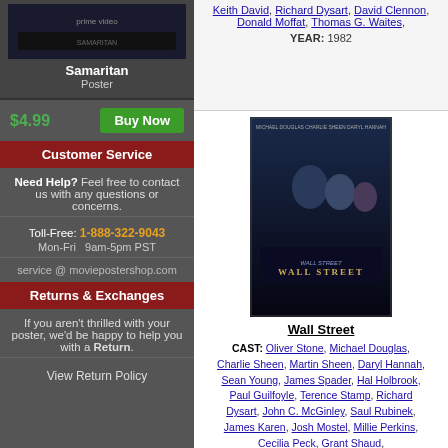[Figure (photo): Samaritan movie poster thumbnail on dark background]
Samaritan
Poster
$4.99  Buy Now
Customer Service
Need Help? Feel free to contact us with any questions or concerns.
Toll-Free: 1-888-322-9043
Mon-Fri  9am-5pm PST
service @ moviepostershop.com
Returns & Exchanges
If you aren't thrilled with your poster, we'd be happy to help you with a Return.
View Return Policy
Keith David, Richard Dysart, David Clennon, Donald Moffat, Thomas G. Waites,
YEAR: 1982
[Figure (photo): Wall Street (1987) movie poster showing Michael Douglas and Charlie Sheen]
Wall Street
CAST: Oliver Stone, Michael Douglas, Charlie Sheen, Martin Sheen, Daryl Hannah, Sean Young, James Spader, Hal Holbrook, Paul Guilfoyle, Terence Stamp, Richard Dysart, John C. McGinley, Saul Rubinek, James Karen, Josh Mostel, Millie Perkins, Cecilia Peck, Grant Shaud,
YEAR: 1987
[Figure (photo): Partial view of another movie poster at bottom]